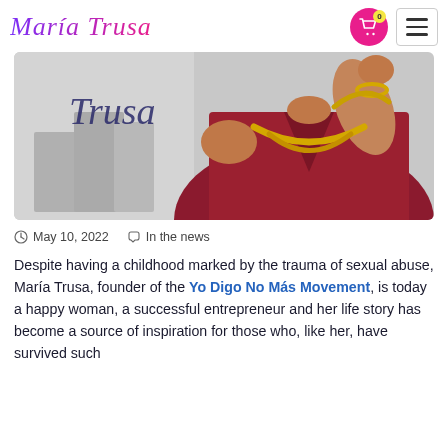María Trusa
[Figure (photo): A woman in a red dress wearing gold jewelry (necklace and bracelet), raising her hand near her face. Background shows a blurred office setting with the cursive word 'Trusa' visible.]
May 10, 2022   In the news
Despite having a childhood marked by the trauma of sexual abuse, María Trusa, founder of the Yo Digo No Más Movement, is today a happy woman, a successful entrepreneur and her life story has become a source of inspiration for those who, like her, have survived such